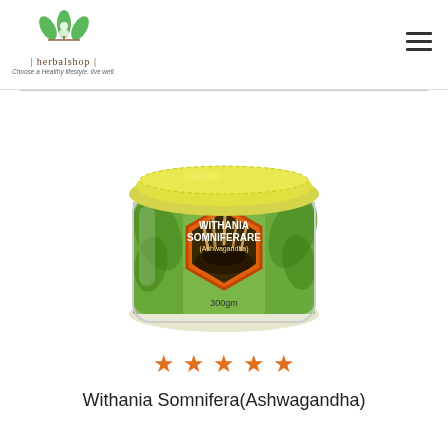[Figure (logo): Herbalshop logo with green leaf and meditating figure above text '| herbalshop |' and tagline 'Choose a Healthy lifestyle. live well.']
[Figure (photo): Glass jar with yellow lid containing Withania Somniferare (Ashwagandha) powder, 300gm, with green plant background label and orange hexagon design showing the herb roots and seeds]
[Figure (other): Five orange star rating icons]
Withania Somnifera(Ashwagandha)